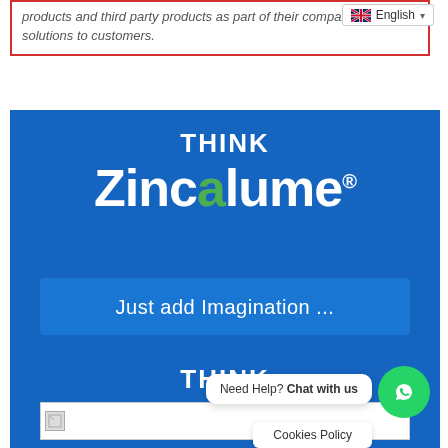products and third party products as part of their company's roofing solutions to customers.
[Figure (screenshot): English language selector dropdown with UK flag]
[Figure (infographic): Blue banner with THINK Zincalume branding, 'Just add Imagination ...' tagline, THINK text, broken image placeholder, Colorbond logo partial, WhatsApp chat widget, and Cookies Policy bar]